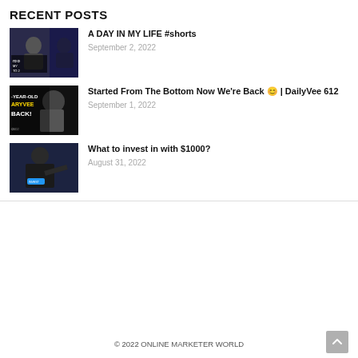RECENT POSTS
[Figure (photo): Thumbnail for 'A DAY IN MY LIFE #shorts' — man in suit on dark background with text overlay]
A DAY IN MY LIFE #shorts
September 2, 2022
[Figure (photo): Thumbnail for 'Started From The Bottom Now We're Back' — man with text '-YEAR-OLD ARYVEE BACK!']
Started From The Bottom Now We're Back 😊 | DailyVee 612
September 1, 2022
[Figure (photo): Thumbnail for 'What to invest in with $1000?' — man in dark jacket pointing]
What to invest in with $1000?
August 31, 2022
© 2022 ONLINE MARKETER WORLD